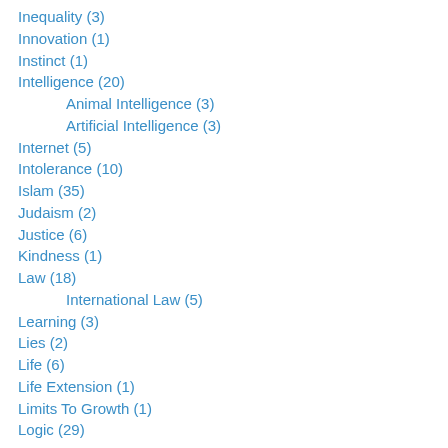Inequality (3)
Innovation (1)
Instinct (1)
Intelligence (20)
Animal Intelligence (3)
Artificial Intelligence (3)
Internet (5)
Intolerance (10)
Islam (35)
Judaism (2)
Justice (6)
Kindness (1)
Law (18)
International Law (5)
Learning (3)
Lies (2)
Life (6)
Life Extension (1)
Limits To Growth (1)
Logic (29)